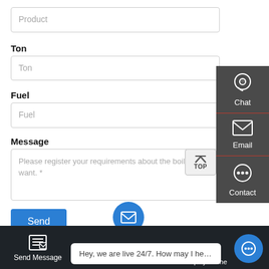Product
Ton
Ton
Fuel
Fuel
Message
Please register your requirements about the boiler you want. *
Send
[Figure (screenshot): Side contact panel with Chat, Email, and Contact icons on dark background]
Chat
Email
Contact
[Figure (screenshot): TOP scroll button]
Send Message
Hey, we are live 24/7. How may I help you?
Inquiry Online